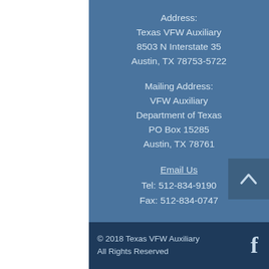Address:
Texas VFW Auxiliary
8503 N Interstate 35
Austin, TX 78753-5722
Mailing Address:
VFW Auxiliary
Department of Texas
PO Box 15285
Austin, TX 78761
Email Us
Tel: 512-834-9190
Fax: 512-834-0747
© 2018 Texas VFW Auxiliary
All Rights Reserved